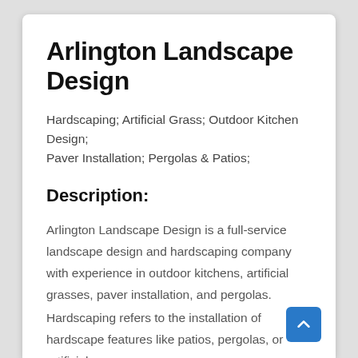Arlington Landscape Design
Hardscaping; Artificial Grass; Outdoor Kitchen Design; Paver Installation; Pergolas & Patios;
Description:
Arlington Landscape Design is a full-service landscape design and hardscaping company with experience in outdoor kitchens, artificial grasses, paver installation, and pergolas.
Hardscaping refers to the installation of hardscape features like patios, pergolas, or artificial grass.
Hardscaping can enhance your outdoor space with its beauty and function.